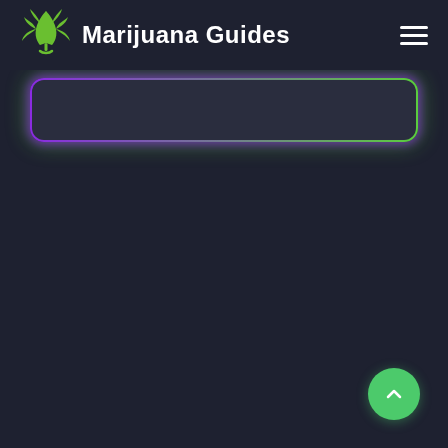Marijuana Guides
[Figure (screenshot): A dark-themed website header and partial page for 'Marijuana Guides'. The header contains a green cannabis leaf logo, the site title 'Marijuana Guides' in white, and a hamburger menu icon on the right. Below the header is a dark search/input box with a neon gradient border (purple to green). The lower portion of the page is a plain dark background. A green circular scroll-to-top button with an upward chevron arrow is in the bottom-right corner.]